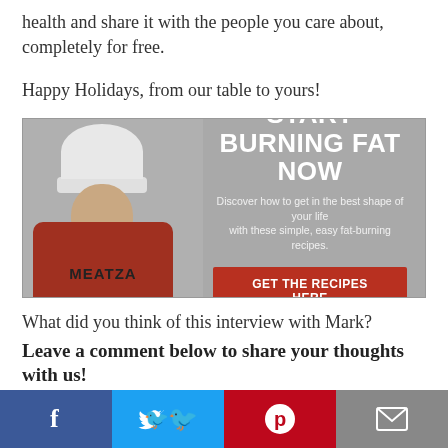health and share it with the people you care about, completely for free.
Happy Holidays, from our table to yours!
[Figure (infographic): Advertisement banner showing a man in a chef hat and orange MEATZA shirt. Text reads: START BURNING FAT NOW. Discover how to get in the best shape of your life with these simple, easy fat-burning recipes. Button: GET THE RECIPES HERE]
What did you think of this interview with Mark? Leave a comment below to share your thoughts with us!
[Figure (infographic): Social sharing bar with four buttons: Facebook (blue), Twitter (light blue), Pinterest (red), Email (gray)]